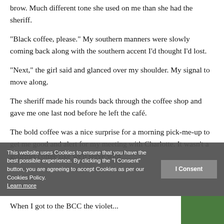brow. Much different tone she used on me than she had the sheriff.
“Black coffee, please.” My southern manners were slowly coming back along with the southern accent I’d thought I’d lost.
“Next,” the girl said and glanced over my shoulder. My signal to move along.
The sheriff made his rounds back through the coffee shop and gave me one last nod before he left the café.
The bold coffee was a nice surprise for a morning pick-me-up to get me good and alert for my meeting with Charlotte. It wasn’t a gourmet coffee like we’d serve with
This website uses Cookies to ensure that you have the best possible experience. By clicking the “I Consent” button, you are agreeing to accept Cookies as per our Cookies Policy. Learn more
When I got to the BCC the violet...
[Figure (photo): Green plant/foliage image in bottom right corner]